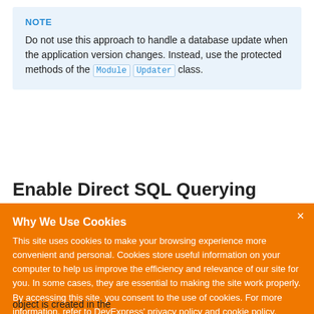NOTE
Do not use this approach to handle a database update when the application version changes. Instead, use the protected methods of the ModuleUpdater class.
Enable Direct SQL Querying
Why We Use Cookies
This site uses cookies to make your browsing experience more convenient and personal. Cookies store useful information on your computer to help us improve the efficiency and relevance of our site for you. In some cases, they are essential to making the site work properly. By accessing this site, you consent to the use of cookies. For more information, refer to DevExpress' privacy policy and cookie policy.
I UNDERSTAND
object is created in the